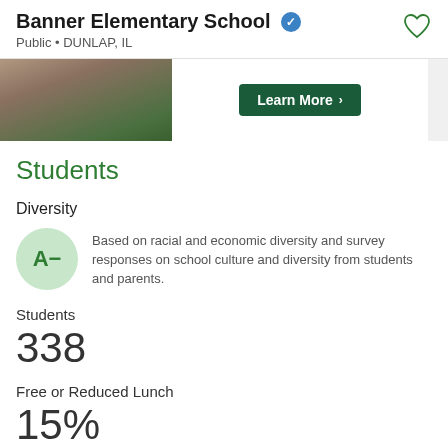Banner Elementary School • Public • DUNLAP, IL
[Figure (photo): Ad banner with photo of students on grass and a green 'Learn More >' button]
Students
Diversity
A−  Based on racial and economic diversity and survey responses on school culture and diversity from students and parents.
Students
338
Free or Reduced Lunch
15%